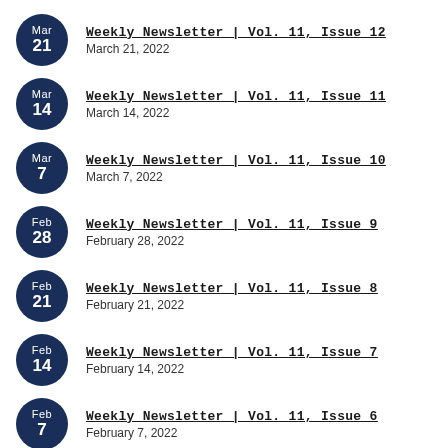Weekly Newsletter | Vol. 11, Issue 12 — March 21, 2022
Weekly Newsletter | Vol. 11, Issue 11 — March 14, 2022
Weekly Newsletter | Vol. 11, Issue 10 — March 7, 2022
Weekly Newsletter | Vol. 11, Issue 9 — February 28, 2022
Weekly Newsletter | Vol. 11, Issue 8 — February 21, 2022
Weekly Newsletter | Vol. 11, Issue 7 — February 14, 2022
Weekly Newsletter | Vol. 11, Issue 6 — February 7, 2022